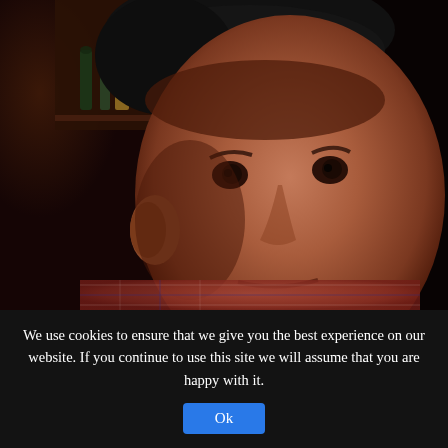[Figure (photo): Close-up selfie of a middle-aged man wearing a dark baseball cap and a plaid shirt, taken indoors in a dimly lit bar or restaurant setting with bottles visible in the background.]
We use cookies to ensure that we give you the best experience on our website. If you continue to use this site we will assume that you are happy with it.
Ok